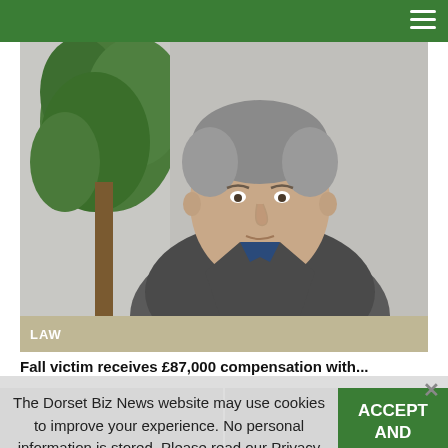[Figure (photo): Middle-aged man with grey hair wearing a blazer and blue shirt, seated in front of a plant and white wall. A tan/khaki banner at the bottom reads 'LAW'.]
Fall victim receives £87,000 compensation with...
The Dorset Biz News website may use cookies to improve your experience. No personal information is stored. Please read our Privacy Policy.
ACCEPT AND PROCEED